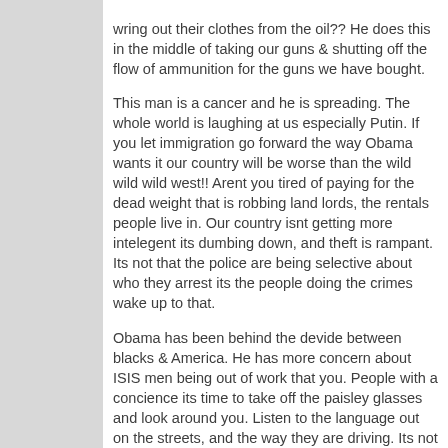wring out their clothes from the oil?? He does this in the middle of taking our guns & shutting off the flow of ammunition for the guns we have bought. This man is a cancer and he is spreading. The whole world is laughing at us especially Putin. If you let immigration go forward the way Obama wants it our country will be worse than the wild wild wild west!! Arent you tired of paying for the dead weight that is robbing land lords, the rentals people live in. Our country isnt getting more intelegent its dumbing down, and theft is rampant. Its not that the police are being selective about who they arrest its the people doing the crimes wake up to that. Obama has been behind the devide between blacks & America. He has more concern about ISIS men being out of work that you. People with a concience its time to take off the paisley glasses and look around you. Listen to the language out on the streets, and the way they are driving. Its not all about you start acting like we have laws on the books and be responsible for your own actions. Its time to fire Obama and bring his